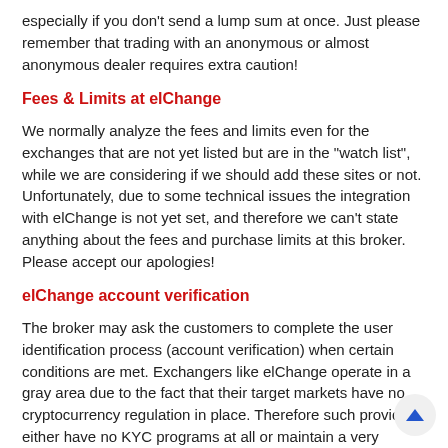especially if you don't send a lump sum at once. Just please remember that trading with an anonymous or almost anonymous dealer requires extra caution!
Fees & Limits at elChange
We normally analyze the fees and limits even for the exchanges that are not yet listed but are in the "watch list", while we are considering if we should add these sites or not. Unfortunately, due to some technical issues the integration with elChange is not yet set, and therefore we can't state anything about the fees and purchase limits at this broker. Please accept our apologies!
elChange account verification
The broker may ask the customers to complete the user identification process (account verification) when certain conditions are met. Exchangers like elChange operate in a gray area due to the fact that their target markets have no cryptocurrency regulation in place. Therefore such providers either have no KYC programs at all or maintain a very simple one. You'll get acquainted with the details during an order submission.
As for the estimation how long does it takes to verify an account at elChange on average: we must apologize, our platform still haven't collected enough feedback from the real users of a broker. By any chance, if you know how fast el...